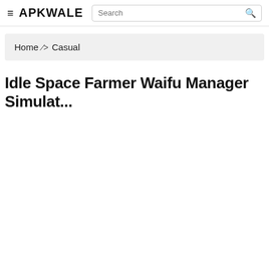≡ APKWALE  Search 🔍
Home > Casual
Idle Space Farmer Waifu Manager Simulat...